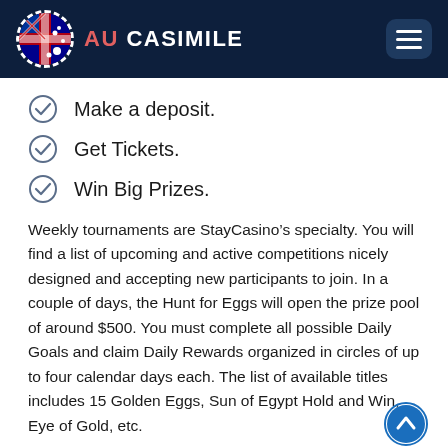AU CASIMILE
Make a deposit.
Get Tickets.
Win Big Prizes.
Weekly tournaments are StayCasino’s specialty. You will find a list of upcoming and active competitions nicely designed and accepting new participants to join. In a couple of days, the Hunt for Eggs will open the prize pool of around $500. You must complete all possible Daily Goals and claim Daily Rewards organized in circles of up to four calendar days each. The list of available titles includes 15 Golden Eggs, Sun of Egypt Hold and Win, Eye of Gold, etc.